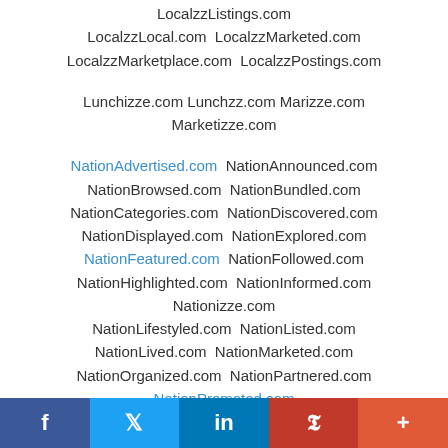LocalzzListings.com LocalzzLocal.com LocalzzMarketed.com LocalzzMarketplace.com LocalzzPostings.com
Lunchizze.com Lunchzz.com Marizze.com Marketizze.com
NationAdvertised.com NationAnnounced.com NationBrowsed.com NationBundled.com NationCategories.com NationDiscovered.com NationDisplayed.com NationExplored.com NationFeatured.com NationFollowed.com NationHighlighted.com NationInformed.com Nationizze.com NationLifestyled.com NationListed.com NationLived.com NationMarketed.com NationOrganized.com NationPartnered.com NationPromoted.com
f t in P +